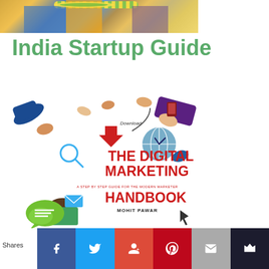[Figure (photo): Cropped photo of a person/deity wearing yellow/orange and blue clothing with a flower garland]
India Startup Guide
[Figure (photo): Book cover of 'The Digital Marketing Handbook: A Step by Step Guide for the Modern Marketer' by Mohit Pawar, showing multiple hands reaching toward a central download icon with digital marketing doodles]
Shares | Facebook | Twitter | Google+ | Pinterest | Email | Su